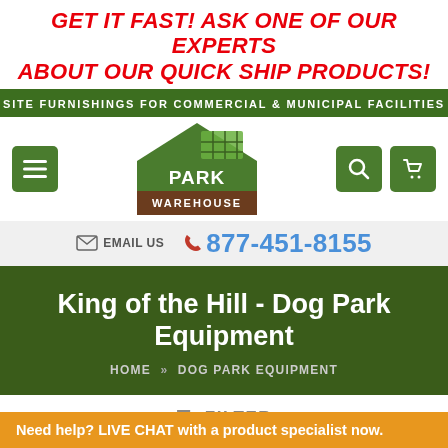GET IT FAST! ASK ONE OF OUR EXPERTS ABOUT OUR QUICK SHIP PRODUCTS!
SITE FURNISHINGS FOR COMMERCIAL & MUNICIPAL FACILITIES
[Figure (logo): Park Warehouse logo — house-shaped building with 'PARK' text inside green roof structure and 'WAREHOUSE' on brown base]
EMAIL US  877-451-8155
King of the Hill - Dog Park Equipment
HOME » DOG PARK EQUIPMENT
≡ FILTER
Need help? LIVE CHAT with a product specialist now.